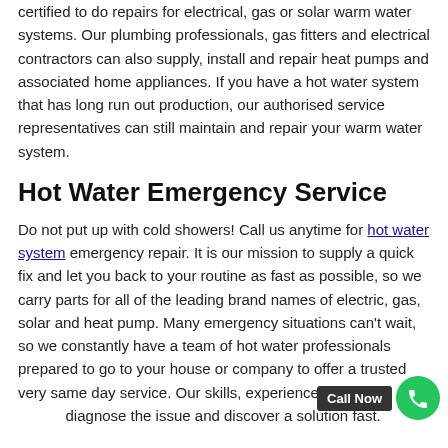certified to do repairs for electrical, gas or solar warm water systems. Our plumbing professionals, gas fitters and electrical contractors can also supply, install and repair heat pumps and associated home appliances. If you have a hot water system that has long run out production, our authorised service representatives can still maintain and repair your warm water system.
Hot Water Emergency Service
Do not put up with cold showers! Call us anytime for hot water system emergency repair. It is our mission to supply a quick fix and let you back to your routine as fast as possible, so we carry parts for all of the leading brand names of electric, gas, solar and heat pump. Many emergency situations can't wait, so we constantly have a team of hot water professionals prepared to go to your house or company to offer a trusted very same day service. Our skills, experience, and mod[Call Now]lla diagnose the issue and discover a solution fast.